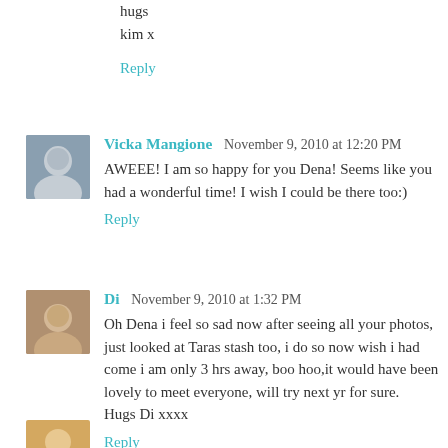hugs
kim x
Reply
Vicka Mangione November 9, 2010 at 12:20 PM
AWEEE! I am so happy for you Dena! Seems like you had a wonderful time! I wish I could be there too:)
Reply
Di November 9, 2010 at 1:32 PM
Oh Dena i feel so sad now after seeing all your photos, just looked at Taras stash too, i do so now wish i had come i am only 3 hrs away, boo hoo,it would have been lovely to meet everyone, will try next yr for sure.
Hugs Di xxxx
Reply